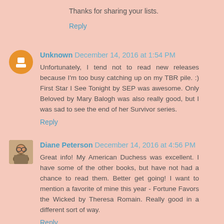Thanks for sharing your lists.
Reply
Unknown  December 14, 2016 at 1:54 PM
Unfortunately, I tend not to read new releases because I'm too busy catching up on my TBR pile. :) First Star I See Tonight by SEP was awesome. Only Beloved by Mary Balogh was also really good, but I was sad to see the end of her Survivor series.
Reply
Diane Peterson  December 14, 2016 at 4:56 PM
Great info! My American Duchess was excellent. I have some of the other books, but have not had a chance to read them. Better get going! I want to mention a favorite of mine this year - Fortune Favors the Wicked by Theresa Romain. Really good in a different sort of way.
Reply